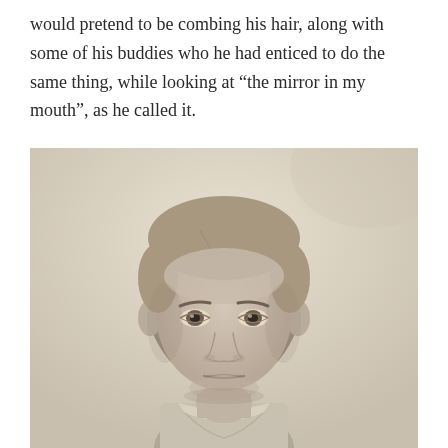would pretend to be combing his hair, along with some of his buddies who he had enticed to do the same thing, while looking at “the mirror in my mouth”, as he called it.
[Figure (photo): Black and white vintage portrait photograph of a young boy with short light hair, serious expression, wearing a light-colored collared shirt. Studio-style school photo.]